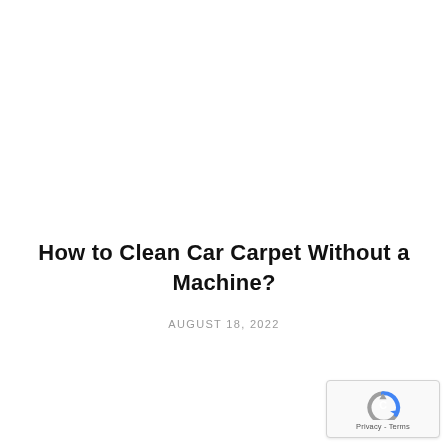How to Clean Car Carpet Without a Machine?
AUGUST 18, 2022
[Figure (logo): reCAPTCHA badge with spinning arrows logo and Privacy - Terms links]